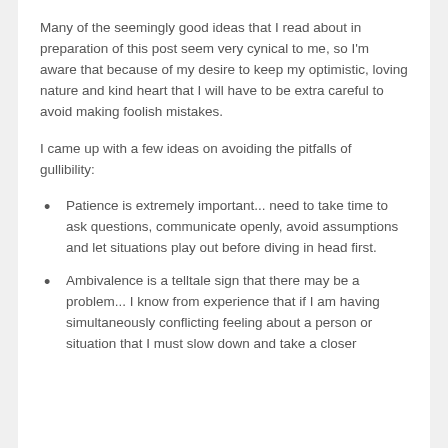Many of the seemingly good ideas that I read about in preparation of this post seem very cynical to me, so I'm aware that because of my desire to keep my optimistic, loving nature and kind heart that I will have to be extra careful to avoid making foolish mistakes.
I came up with a few ideas on avoiding the pitfalls of gullibility:
Patience is extremely important... need to take time to ask questions, communicate openly, avoid assumptions and let situations play out before diving in head first.
Ambivalence is a telltale sign that there may be a problem... I know from experience that if I am having simultaneously conflicting feeling about a person or situation that I must slow down and take a closer